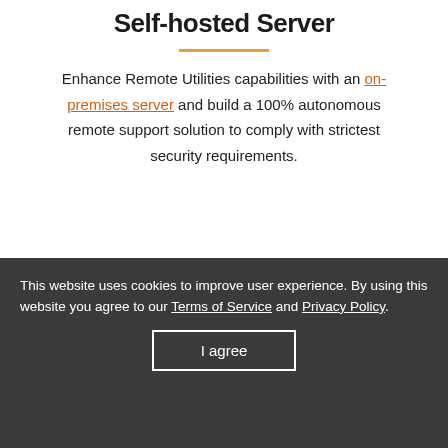Self-hosted Server
Enhance Remote Utilities capabilities with an on-premises server and build a 100% autonomous remote support solution to comply with strictest security requirements.
[Figure (screenshot): Screenshot of Remote Utilities Server (local server) application window with an Address book manager dialog open, showing File, Help menu and Active badge]
This website uses cookies to improve user experience. By using this website you agree to our Terms of Service and Privacy Policy.
I agree